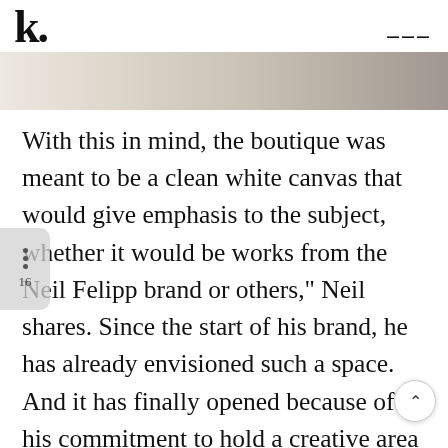k. [logo] [hamburger menu]
[Figure (photo): Partial view of a boutique interior with warm neutral tones, showing a light-colored wall and shelving area]
With this in mind, the boutique was meant to be a clean white canvas that would give emphasis to the subject, whether it would be works from the Neil Felipp brand or others," Neil shares. Since the start of his brand, he has already envisioned such a space. And it has finally opened because of his commitment to hold a creative area where his works may be displayed, as well as offer a platform for emerging creatives. He relentlessly persevered despite all his doubts even at such an uncertain time, and launched his boutique amid the pandemic and